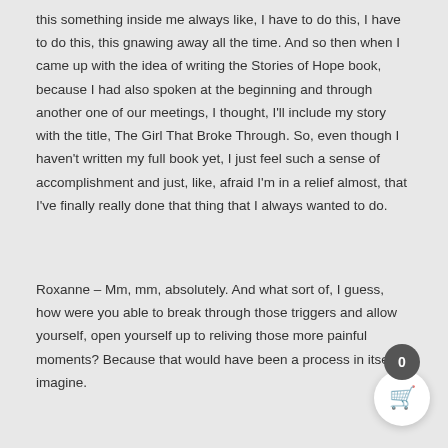this something inside me always like, I have to do this, I have to do this, this gnawing away all the time. And so then when I came up with the idea of writing the Stories of Hope book, because I had also spoken at the beginning and through another one of our meetings, I thought, I'll include my story with the title, The Girl That Broke Through. So, even though I haven't written my full book yet, I just feel such a sense of accomplishment and just, like, afraid I'm in a relief almost, that I've finally really done that thing that I always wanted to do.
Roxanne – Mm, mm, absolutely. And what sort of, I guess, how were you able to break through those triggers and allow yourself, open yourself up to reliving those more painful moments? Because that would have been a process in itself, I imagine.